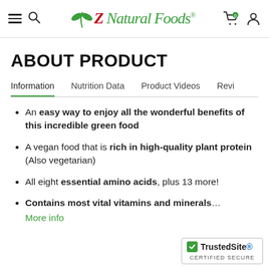[Figure (logo): Z Natural Foods website header with hamburger menu, search icon, logo with green leaf and red Z, cart icon, and user icon]
ABOUT PRODUCT
Information | Nutrition Data | Product Videos | Revi
An easy way to enjoy all the wonderful benefits of this incredible green food
A vegan food that is rich in high-quality plant protein (Also vegetarian)
All eight essential amino acids, plus 13 more!
Contains most vital vitamins and minerals… More info
[Figure (logo): TrustedSite Certified Secure badge]